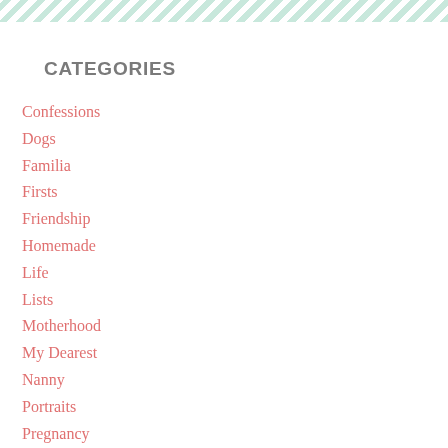[Figure (other): Diagonal stripe decorative header band in mint/teal green and white]
CATEGORIES
Confessions
Dogs
Familia
Firsts
Friendship
Homemade
Life
Lists
Motherhood
My Dearest
Nanny
Portraits
Pregnancy
Ramblings